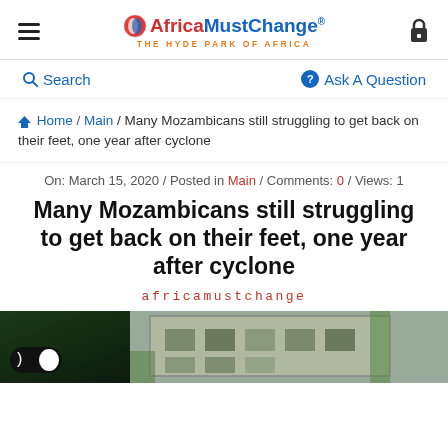AfricaMustChange® — THE HYDE PARK OF AFRICA
Search | Ask A Question
Home / Main / Many Mozambicans still struggling to get back on their feet, one year after cyclone
On: March 15, 2020 / Posted in Main / Comments: 0 / Views: 1
Many Mozambicans still struggling to get back on their feet, one year after cyclone
africamustchange
[Figure (photo): Dark mode toggle overlaid on a photo, and a photo of a damaged building]
[Figure (photo): Partially visible photo of a damaged concrete building]